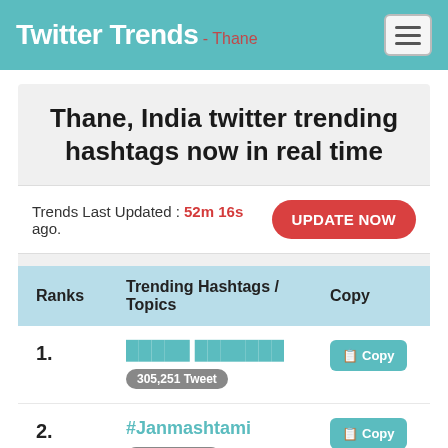Twitter Trends - Thane
Thane, India twitter trending hashtags now in real time
Trends Last Updated : 52m 16s ago.
| Ranks | Trending Hashtags / Topics | Copy |
| --- | --- | --- |
| 1. | █████ ███████
305,251 Tweet | Copy |
| 2. | #Janmashtami
82,563 Tweet | Copy |
| 3. | #ManishSisodia | Copy |